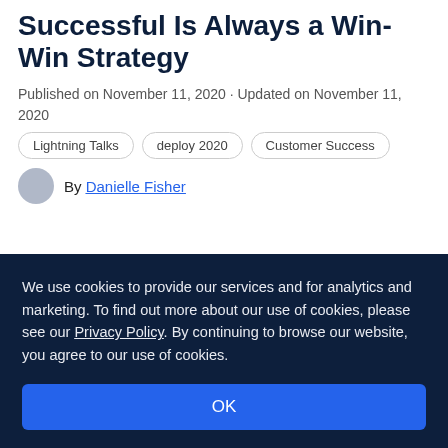Successful Is Always a Win-Win Strategy
Published on November 11, 2020 · Updated on November 11, 2020
Lightning Talks
deploy 2020
Customer Success
By Danielle Fisher
We use cookies to provide our services and for analytics and marketing. To find out more about our use of cookies, please see our Privacy Policy. By continuing to browse our website, you agree to our use of cookies.
OK